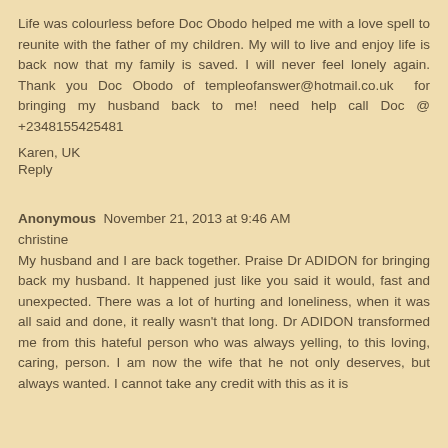Life was colourless before Doc Obodo helped me with a love spell to reunite with the father of my children. My will to live and enjoy life is back now that my family is saved. I will never feel lonely again. Thank you Doc Obodo of templeofanswer@hotmail.co.uk for bringing my husband back to me! need help call Doc @ +2348155425481
Karen, UK
Reply
Anonymous November 21, 2013 at 9:46 AM
christine
My husband and I are back together. Praise Dr ADIDON for bringing back my husband. It happened just like you said it would, fast and unexpected. There was a lot of hurting and loneliness, when it was all said and done, it really wasn't that long. Dr ADIDON transformed me from this hateful person who was always yelling, to this loving, caring, person. I am now the wife that he not only deserves, but always wanted. I cannot take any credit with this as it is